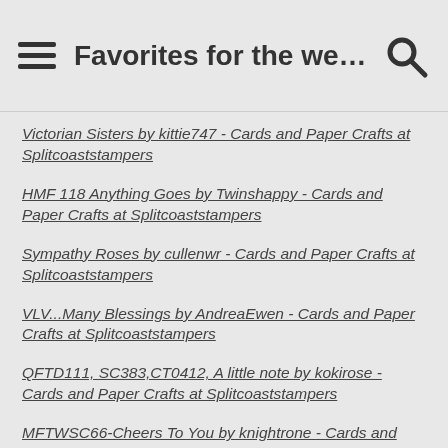Favorites for the week ending ...
Victorian Sisters by kittie747 - Cards and Paper Crafts at Splitcoaststampers
HMF 118 Anything Goes by Twinshappy - Cards and Paper Crafts at Splitcoaststampers
Sympathy Roses by cullenwr - Cards and Paper Crafts at Splitcoaststampers
VLV...Many Blessings by AndreaEwen - Cards and Paper Crafts at Splitcoaststampers
QFTD111, SC383,CT0412, A little note by kokirose - Cards and Paper Crafts at Splitcoaststampers
MFTWSC66-Cheers To You by knightrone - Cards and Paper Crafts at Splitcoaststampers